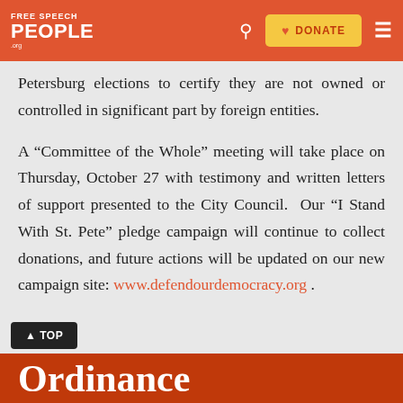Free Speech For People .org — navigation bar with search and donate button
Petersburg elections to certify they are not owned or controlled in significant part by foreign entities.
A “Committee of the Whole” meeting will take place on Thursday, October 27 with testimony and written letters of support presented to the City Council.  Our “I Stand With St. Pete” pledge campaign will continue to collect donations, and future actions will be updated on our new campaign site: www.defendourdemocracy.org .
Ordinance